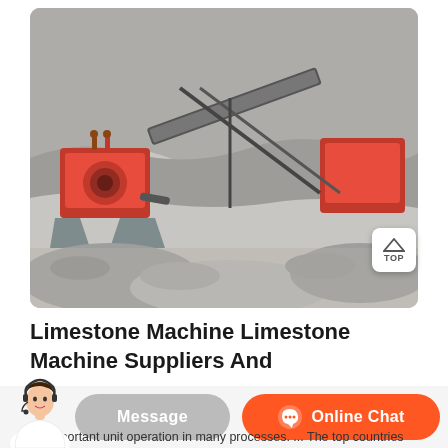[Figure (photo): Outdoor limestone crushing and grinding machine operation at a quarry site. Large red industrial crushers and conveyor belts surrounded by piles of crushed stone/limestone dust with rocky cliffs in background.]
Limestone Machine Limestone Machine Suppliers And
roduction of Limestone Micro Powder Grinding Mill Machine
an important unit operation in many processes. ... The top countries